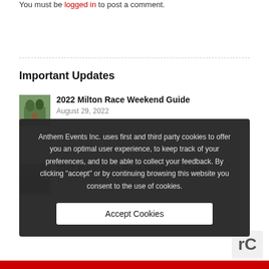You must be logged in to post a comment.
Important Updates
2022 Milton Race Weekend Guide
August 29, 2022
2022 Burlington Race Weekend Guide
June 6, 2022
Anthem Events Inc. uses first and third party cookies to offer you an optimal user experience, to keep track of your preferences, and to be able to collect your feedback. By clicking "accept" or by continuing browsing this website you consent to the use of cookies.
Accept Cookies